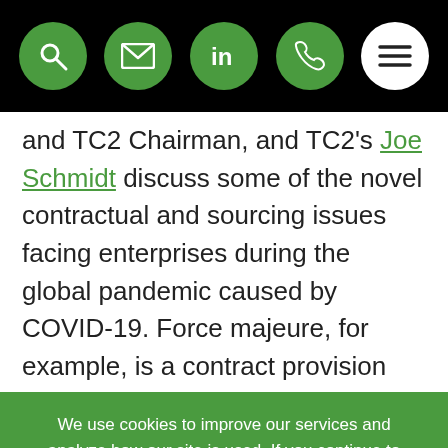[Navigation bar with icons: search, email, LinkedIn, phone, menu]
and TC2 Chairman, and TC2's Joe Schmidt discuss some of the novel contractual and sourcing issues facing enterprises during the global pandemic caused by COVID-19. Force majeure, for example, is a contract provision
We use cookies to improve our services and analyze how our site is used. If you continue to browse this site you are giving implied consent to the continued use of cookies and tracking on this website. To learn more about cookies or how to opt-out, please see our click here.
ACCEPT